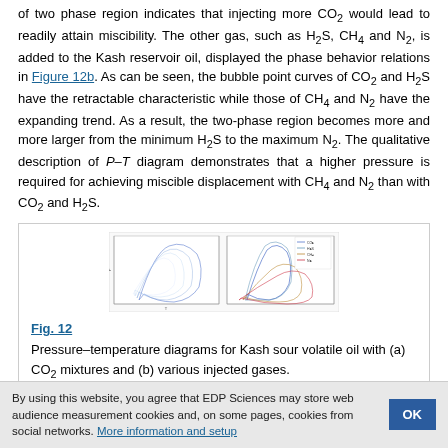of two phase region indicates that injecting more CO2 would lead to readily attain miscibility. The other gas, such as H2S, CH4 and N2, is added to the Kash reservoir oil, displayed the phase behavior relations in Figure 12b. As can be seen, the bubble point curves of CO2 and H2S have the retractable characteristic while those of CH4 and N2 have the expanding trend. As a result, the two-phase region becomes more and more larger from the minimum H2S to the maximum N2. The qualitative description of P–T diagram demonstrates that a higher pressure is required for achieving miscible displacement with CH4 and N2 than with CO2 and H2S.
[Figure (continuous-plot): Pressure-temperature phase diagrams for Kash sour volatile oil showing bubble point curves for CO2, H2S, CH4 and N2 mixtures]
Fig. 12
Pressure–temperature diagrams for Kash sour volatile oil with (a) CO2 mixtures and (b) various injected gases.
3.1.2 CO2/CH4
By using this website, you agree that EDP Sciences may store web audience measurement cookies and, on some pages, cookies from social networks. More information and setup